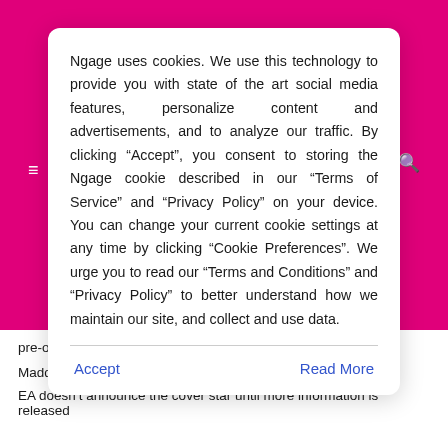Ngage uses cookies. We use this technology to provide you with state of the art social media features, personalize content and advertisements, and to analyze our traffic. By clicking “Accept”, you consent to storing the Ngage cookie described in our “Terms of Service” and “Privacy Policy” on your device. You can change your current cookie settings at any time by clicking “Cookie Preferences”. We urge you to read our “Terms and Conditions” and “Privacy Policy” to better understand how we maintain our site, and collect and use data.
Accept
Read More
pre-ordered on or around Tuesday 3 August.
Madden 22 Cover Athlete
EA doesn’t announce the cover star until more information is released